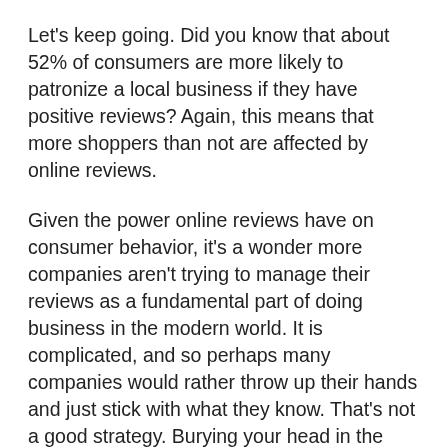Let's keep going. Did you know that about 52% of consumers are more likely to patronize a local business if they have positive reviews? Again, this means that more shoppers than not are affected by online reviews.
Given the power online reviews have on consumer behavior, it's a wonder more companies aren't trying to manage their reviews as a fundamental part of doing business in the modern world. It is complicated, and so perhaps many companies would rather throw up their hands and just stick with what they know. That's not a good strategy. Burying your head in the sand won't make the real world go away, or in this case, your company's bad online reviews.
Online review management is what we do and we do it well. Our services are designed to help you